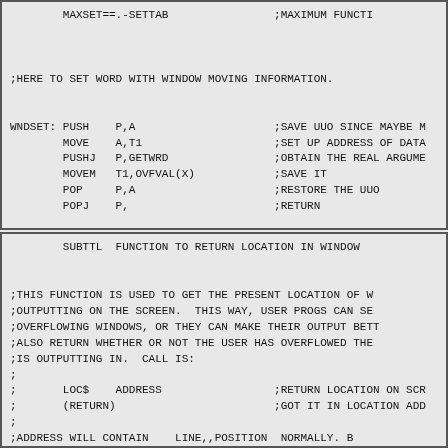MAXSET==.-SETTAB                ;MAXIMUM FUNCTI


;HERE TO SET WORD WITH WINDOW MOVING INFORMATION.


WNDSET: PUSH    P,A                     ;SAVE UUO SINCE MAYBE M
        MOVE    A,T1                    ;SET UP ADDRESS OF DATA
        PUSHJ   P,GETWRD                ;OBTAIN THE REAL ARGUME
        MOVEM   T1,OVFVAL(X)            ;SAVE IT
        POP     P,A                     ;RESTORE THE UUO
        POPJ    P,                      ;RETURN
SUBTTL  FUNCTION TO RETURN LOCATION IN WINDOW


;THIS FUNCTION IS USED TO GET THE PRESENT LOCATION OF W
;OUTPUTTING ON THE SCREEN.  THIS WAY, USER PROGS CAN SE
;OVERFLOWING WINDOWS, OR THEY CAN MAKE THEIR OUTPUT BETT
;ALSO RETURN WHETHER OR NOT THE USER HAS OVERFLOWED THE
;IS OUTPUTTING IN.  CALL IS:
;
;       LOC$    ADDRESS                 ;RETURN LOCATION ON SCR
;       (RETURN)                        ;GOT IT IN LOCATION ADD
;
;ADDRESS WILL CONTAIN    LINE,,POSITION  NORMALLY. B